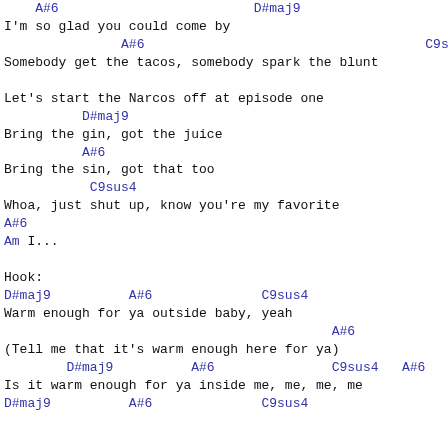A#6                    D#maj9
I'm so glad you could come by
           A#6                              C9sus4
Somebody get the tacos, somebody spark the blunt
                                                   A#6
Let's start the Narcos off at episode one
        D#maj9
Bring the gin, got the juice
        A#6
Bring the sin, got that too
         C9sus4
Whoa, just shut up, know you're my favorite
A#6
Am I...

Hook:
D#maj9         A#6             C9sus4
Warm enough for ya outside baby, yeah
                                    A#6
(Tell me that it's warm enough here for ya)
       D#maj9         A#6              C9sus4   A#6
Is it warm enough for ya inside me, me, me, me
D#maj9         A#6             C9sus4